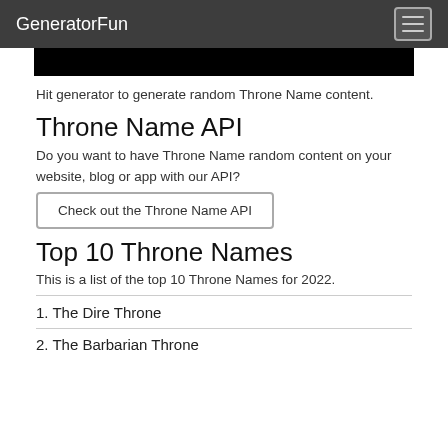GeneratorFun
Hit generator to generate random Throne Name content.
Throne Name API
Do you want to have Throne Name random content on your website, blog or app with our API?
Check out the Throne Name API
Top 10 Throne Names
This is a list of the top 10 Throne Names for 2022.
1. The Dire Throne
2. The Barbarian Throne